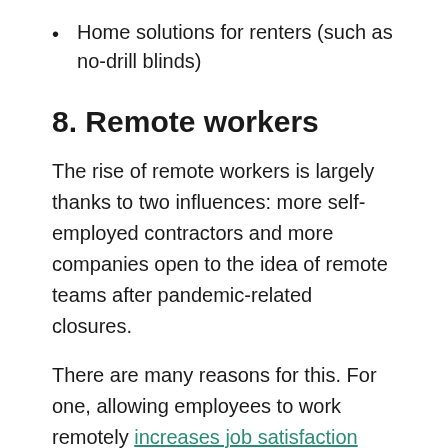Home solutions for renters (such as no-drill blinds)
8. Remote workers
The rise of remote workers is largely thanks to two influences: more self-employed contractors and more companies open to the idea of remote teams after pandemic-related closures.
There are many reasons for this. For one, allowing employees to work remotely increases job satisfaction and productivity. These workers are also more engaged and two times